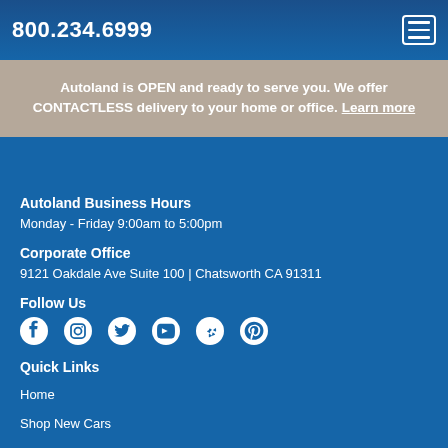800.234.6999
Autoland is OPEN and ready to serve you. We offer CONTACTLESS delivery to your home or office. Learn more
Autoland Business Hours
Monday - Friday 9:00am to 5:00pm
Corporate Office
9121 Oakdale Ave Suite 100 | Chatsworth CA 91311
Follow Us
[Figure (infographic): Social media icons: Facebook, Instagram, Twitter, YouTube, Yelp, Pinterest]
Quick Links
Home
Shop New Cars
Shop Used Cars
Trade/Sell